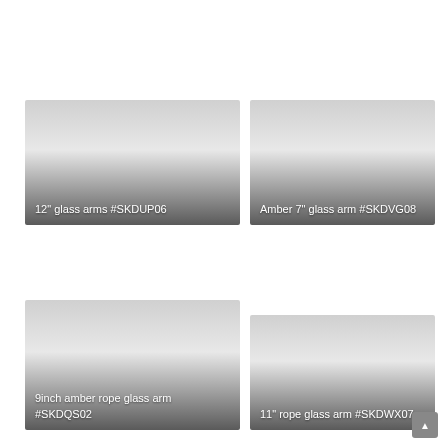[Figure (photo): Product image card: 12" glass arms #SKDUP06, gradient gray background]
12" glass arms #SKDUP06
[Figure (photo): Product image card: Amber 7" glass arm #SKDVG08, gradient gray background]
Amber 7" glass arm #SKDVG08
[Figure (photo): Product image card: 9inch amber rope glass arm #SKDQS02, gradient gray background]
9inch amber rope glass arm #SKDQS02
[Figure (photo): Product image card: 11" rope glass arm #SKDWX07, gradient gray background]
11" rope glass arm #SKDWX07